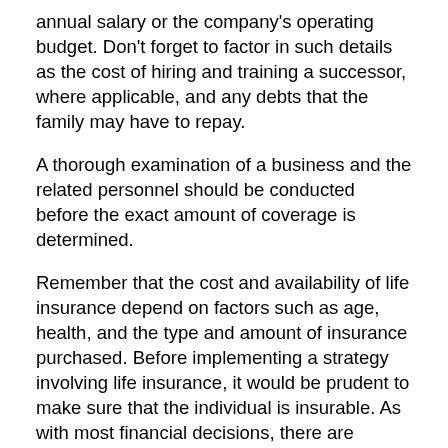annual salary or the company's operating budget. Don't forget to factor in such details as the cost of hiring and training a successor, where applicable, and any debts that the family may have to repay.
A thorough examination of a business and the related personnel should be conducted before the exact amount of coverage is determined.
Remember that the cost and availability of life insurance depend on factors such as age, health, and the type and amount of insurance purchased. Before implementing a strategy involving life insurance, it would be prudent to make sure that the individual is insurable. As with most financial decisions, there are expenses associated with the purchase of life insurance. Policies commonly have contract limitations, fees, and charges, which can include mortality and expense charges. In addition, if a policy is surrendered prematurely, there may be surrender charges and income tax implications.